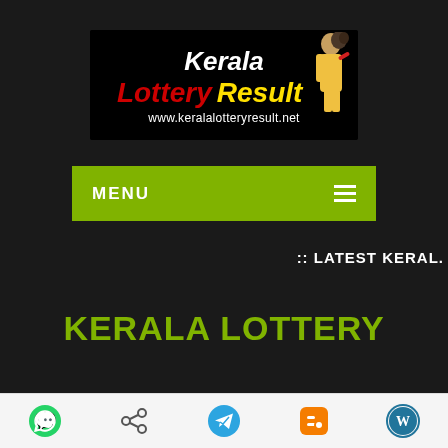[Figure (logo): Kerala Lottery Result logo banner with text 'Kerala Lottery Result' and URL www.keralalotteryresult.net on black background with traditional figure illustration]
MENU
:: LATEST KERAL.
KERALA LOTTERY CHRISTMAS NEW YEAR
[Figure (infographic): Bottom navigation bar with social sharing icons: WhatsApp, Share, Telegram, Blogger, WordPress]